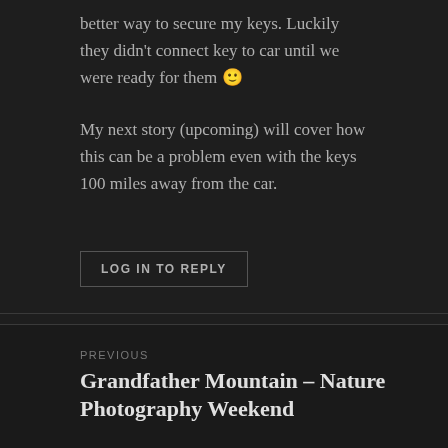better way to secure my keys. Luckily they didn't connect key to car until we were ready for them 🙂
My next story (upcoming) will cover how this can be a problem even with the keys 100 miles away from the car.
LOG IN TO REPLY
Leave a Reply
You must be logged in to post a comment.
PREVIOUS
Grandfather Mountain – Nature Photography Weekend